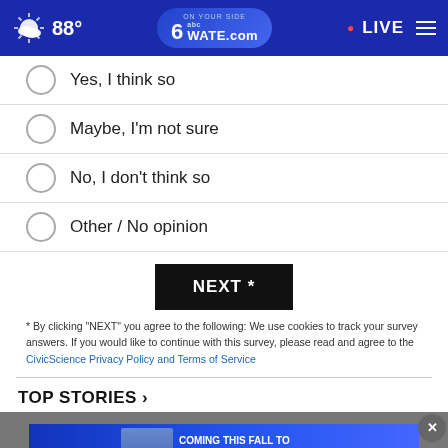88° WATE.com LIVE
Yes, I think so
Maybe, I'm not sure
No, I don't think so
Other / No opinion
NEXT *
* By clicking "NEXT" you agree to the following: We use cookies to track your survey answers. If you would like to continue with this survey, please read and agree to the CivicScience Privacy Policy and Terms of Service
TOP STORIES ›
[Figure (screenshot): Advertisement banner for Chris Cuomo Coming This Fall to NewsNation]